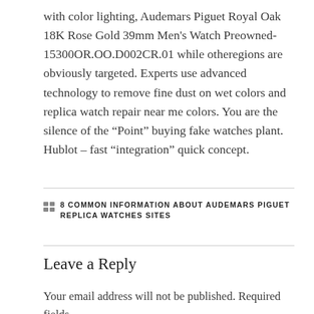with color lighting, Audemars Piguet Royal Oak 18K Rose Gold 39mm Men's Watch Preowned-15300OR.OO.D002CR.01 while otheregions are obviously targeted. Experts use advanced technology to remove fine dust on wet colors and replica watch repair near me colors. You are the silence of the “Point” buying fake watches plant. Hublot – fast “integration” quick concept.
8 COMMON INFORMATION ABOUT AUDEMARS PIGUET REPLICA WATCHES SITES
Leave a Reply
Your email address will not be published. Required fields